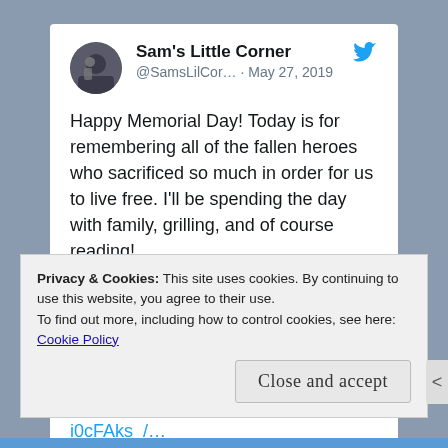[Figure (screenshot): Twitter/social media post by Sam's Little Corner (@SamsLilCor...) dated May 27, 2019, with avatar photo and Twitter bird icon]
Happy Memorial Day! Today is for remembering all of the fallen heroes who sacrificed so much in order for us to live free. I'll be spending the day with family, grilling, and of course reading!
.
.
.
#bookstagram… instagram.com/p/Bx-i0cFAks_/…
Privacy & Cookies: This site uses cookies. By continuing to use this website, you agree to their use.
To find out more, including how to control cookies, see here: Cookie Policy
Close and accept